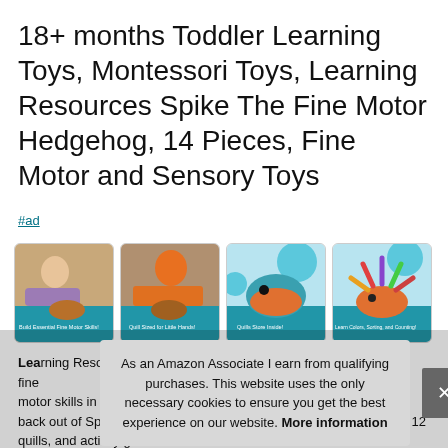18+ months Toddler Learning Toys, Montessori Toys, Learning Resources Spike The Fine Motor Hedgehog, 14 Pieces, Fine Motor and Sensory Toys
#ad
[Figure (photo): Four product images of the Spike The Fine Motor Hedgehog toy showing: (1) child playing with toy with caption 'Build Essential Fine Motor Skills!', (2) child with toy and caption 'Quill Sized for Little Hands!', (3) toy with caption 'Quills Store Inside!', (4) colorful toy with caption 'Learn Colors, Sorting, and Counting!']
Lea… mot… bac… hedgehog about 6" in diameter, 12 quills, and activity guide.
As an Amazon Associate I earn from qualifying purchases. This website uses the only necessary cookies to ensure you get the best experience on our website. More information